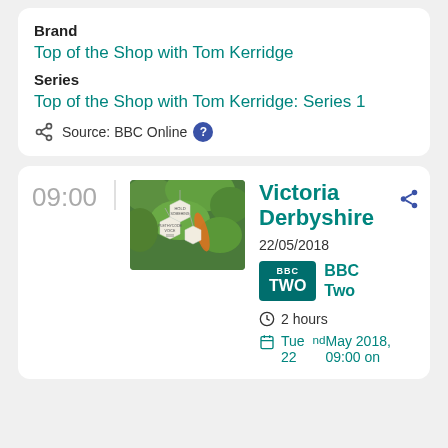Brand
Top of the Shop with Tom Kerridge
Series
Top of the Shop with Tom Kerridge: Series 1
Source: BBC Online
09:00
[Figure (photo): Thumbnail image showing white hexagonal paper tags hanging in green trees]
Victoria Derbyshire
22/05/2018
BBC Two
2 hours
Tue 22nd May 2018, 09:00 on